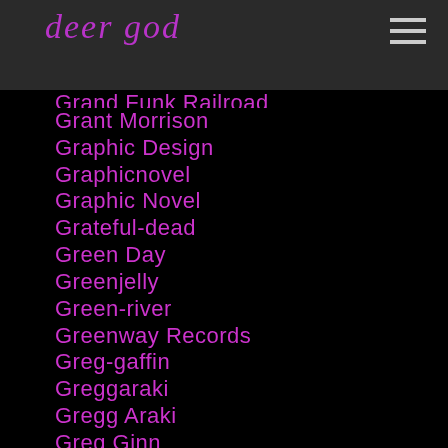deer god
Grand Funk Railroad
Grant Morrison
Graphic Design
Graphicnovel
Graphic Novel
Grateful-dead
Green Day
Greenjelly
Green-river
Greenway Records
Greg-gaffin
Greggaraki
Gregg Araki
Greg Ginn
Greg-graffin
Gregkurstin
Greg-kurstin